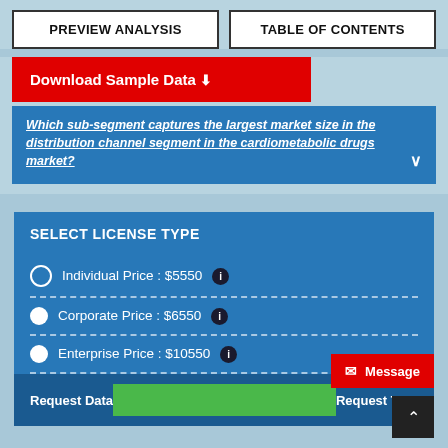PREVIEW ANALYSIS
TABLE OF CONTENTS
Download Sample Data
Which sub-segment captures the largest market size in the distribution channel segment in the cardiometabolic drugs market?
SELECT LICENSE TYPE
Individual Price : $5550
Corporate Price : $6550
Enterprise Price : $10550
Request Data
Request TOC
Message